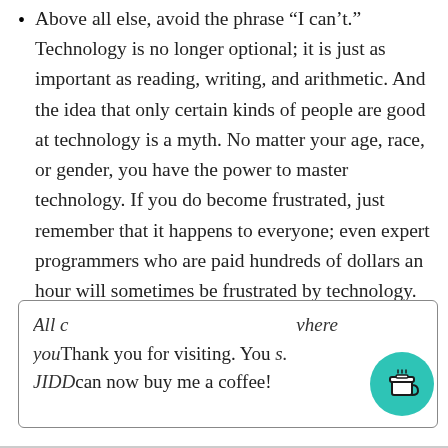Above all else, avoid the phrase “I can’t.” Technology is no longer optional; it is just as important as reading, writing, and arithmetic. And the idea that only certain kinds of people are good at technology is a myth. No matter your age, race, or gender, you have the power to master technology. If you do become frustrated, just remember that it happens to everyone; even expert programmers who are paid hundreds of dollars an hour will sometimes be frustrated by technology.
All c… where your… s. JIDD… | Thank you for visiting. You can now buy me a coffee!